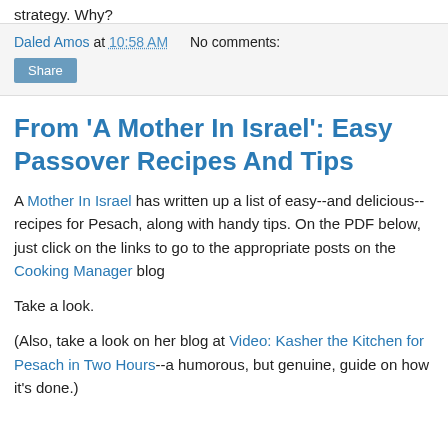strategy. Why?
Daled Amos at 10:58 AM   No comments:
Share
From 'A Mother In Israel': Easy Passover Recipes And Tips
A Mother In Israel has written up a list of easy--and delicious--recipes for Pesach, along with handy tips. On the PDF below, just click on the links to go to the appropriate posts on the Cooking Manager blog
Take a look.
(Also, take a look on her blog at Video: Kasher the Kitchen for Pesach in Two Hours--a humorous, but genuine, guide on how it's done.)